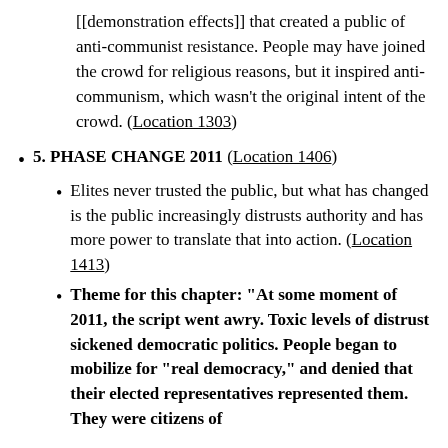[[demonstration effects]] that created a public of anti-communist resistance. People may have joined the crowd for religious reasons, but it inspired anti-communism, which wasn't the original intent of the crowd. (Location 1303)
5. PHASE CHANGE 2011 (Location 1406)
Elites never trusted the public, but what has changed is the public increasingly distrusts authority and has more power to translate that into action. (Location 1413)
Theme for this chapter: "At some moment of 2011, the script went awry. Toxic levels of distrust sickened democratic politics. People began to mobilize for “real democracy,” and denied that their elected representatives represented them. They were citizens of